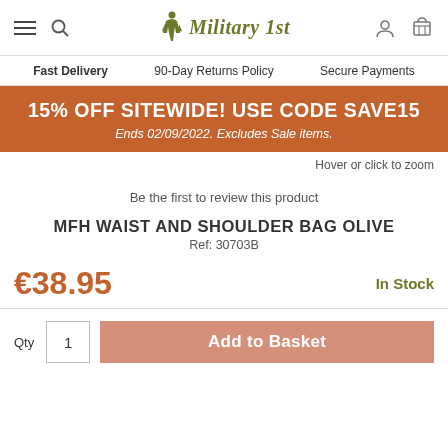Military 1st — Fast Delivery | 90-Day Returns Policy | Secure Payments
15% OFF SITEWIDE! USE CODE SAVE15
Ends 02/09/2022. Excludes Sale items.
Hover or click to zoom
Be the first to review this product
MFH WAIST AND SHOULDER BAG OLIVE
Ref: 30703B
€38.95
In Stock
Qty  1  Add to Basket